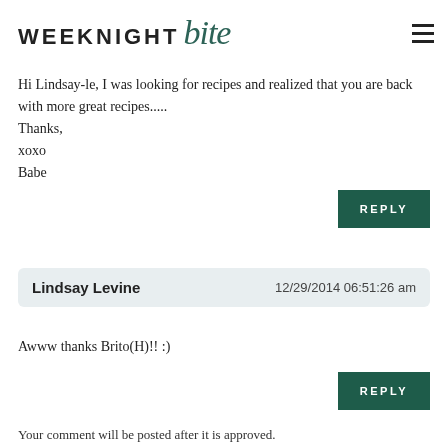WEEKNIGHT bite
Hi Lindsay-le, I was looking for recipes and realized that you are back with more great recipes.....
Thanks,
xoxo
Babe
REPLY
Lindsay Levine  12/29/2014 06:51:26 am
Awww thanks Brito(H)!! :)
REPLY
Your comment will be posted after it is approved.